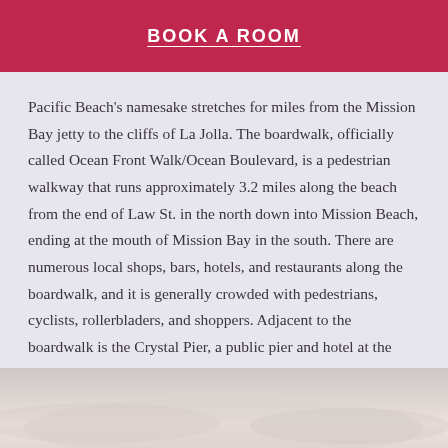BOOK A ROOM
Pacific Beach's namesake stretches for miles from the Mission Bay jetty to the cliffs of La Jolla. The boardwalk, officially called Ocean Front Walk/Ocean Boulevard, is a pedestrian walkway that runs approximately 3.2 miles along the beach from the end of Law St. in the north down into Mission Beach, ending at the mouth of Mission Bay in the south. There are numerous local shops, bars, hotels, and restaurants along the boardwalk, and it is generally crowded with pedestrians, cyclists, rollerbladers, and shoppers. Adjacent to the boardwalk is the Crystal Pier, a public pier and hotel at the west end of Garnet Avenue.
[Figure (photo): Faded beach/sky background image at the bottom of the page, light pinkish-beige tones suggesting a beach scene.]